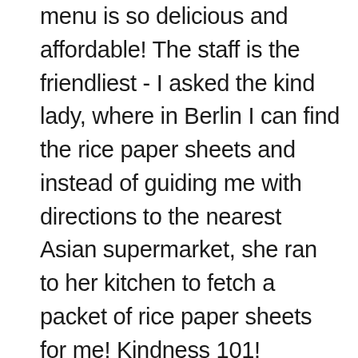menu is so delicious and affordable! The staff is the friendliest - I asked the kind lady, where in Berlin I can find the rice paper sheets and instead of guiding me with directions to the nearest Asian supermarket, she ran to her kitchen to fetch a packet of rice paper sheets for me! Kindness 101!
1,083
[Figure (photo): A collage of food/restaurant photos including text showing 'appy' and 'par' on packaging (black and white), a blurred food item (black and white), and a yellow/orange colored food item. Below is a partial row of more photos.]